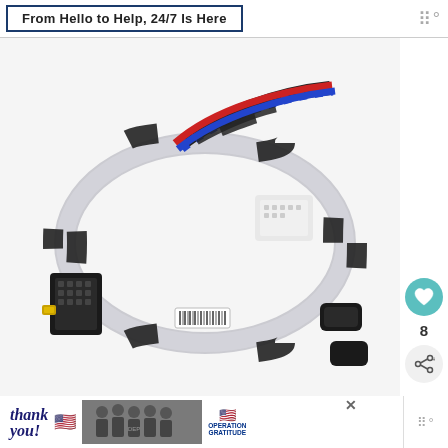From Hello to Help, 24/7 Is Here
[Figure (photo): A wire harness/wiring loom showing multiple colored wires (black, red, blue, white) bundled together with connectors at each end, coiled on a white background. The bundle has black tape wrapping, a clear spiral wrap, and black multi-pin connectors.]
How it fails: Wire harnesses will become problematic because of faulty so...
WHAT'S NEXT → Why Speed Queen Wash...
[Figure (photo): Thumbnail image of a Speed Queen washer article]
[Figure (photo): Advertisement banner: thank you with Operation Gratitude branding showing firefighters]